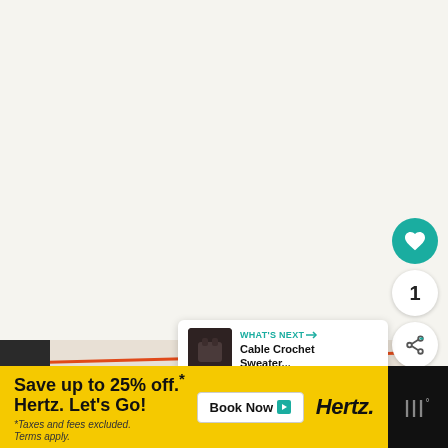[Figure (screenshot): White/cream background area (top portion of a webpage/app screenshot)]
[Figure (screenshot): UI buttons: teal heart/like button, white circle with count '1', white share button, white up-arrow button on right side]
1
[Figure (screenshot): 'WHAT'S NEXT →' panel showing a thumbnail of a dark sweater and text 'Cable Crochet Sweater...']
WHAT'S NEXT →
Cable Crochet Sweater...
[Figure (photo): Bottom portion of page showing cream/beige surface with an orange diagonal line and a teal thick diagonal line/bar]
[Figure (screenshot): Advertisement banner: yellow background with text 'Save up to 25% off.* Hertz. Let's Go!' and 'Book Now' button and Hertz logo. *Taxes and fees excluded. Terms apply.]
Save up to 25% off.*
Hertz. Let's Go!
*Taxes and fees excluded. Terms apply.
Book Now
Hertz.